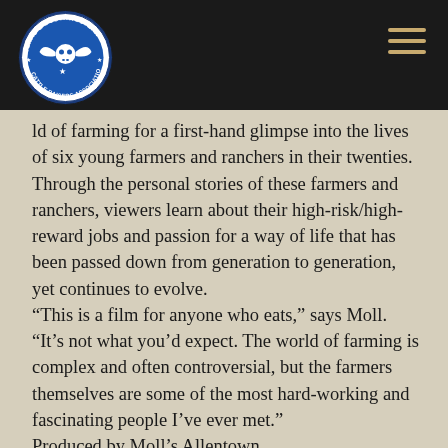[Figure (logo): Texas & Southwestern Cattle Raisers Association circular logo with longhorn skull and star, blue and white]
ld of farming for a first-hand glimpse into the lives of six young farmers and ranchers in their twenties. Through the personal stories of these farmers and ranchers, viewers learn about their high-risk/high-reward jobs and passion for a way of life that has been passed down from generation to generation, yet continues to evolve. “This is a film for anyone who eats,” says Moll. “It’s not what you’d expect. The world of farming is complex and often controversial, but the farmers themselves are some of the most hard-working and fascinating people I’ve ever met.” Produced by Moll’s Allentown